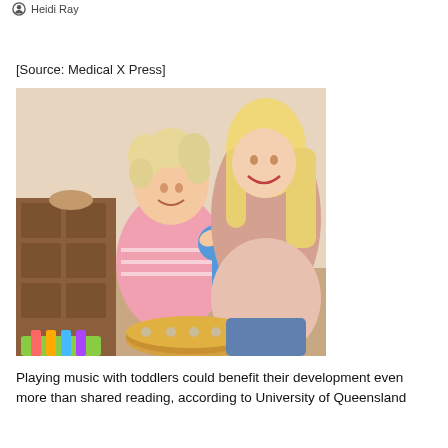Heidi Ray
[Source: Medical X Press]
[Figure (photo): A smiling toddler with curly blonde hair wearing a pink striped outfit holds a blue maraca toy, while a blonde woman leans in smiling behind the child. A tambourine sits in front of them. Wooden drawers and toys are visible in the background.]
Playing music with toddlers could benefit their development even more than shared reading, according to University of Queensland